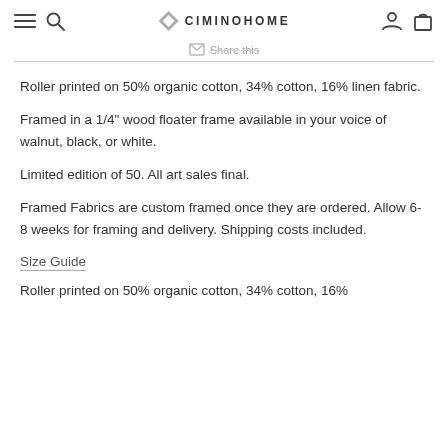CIMINOHOME
Share this
Roller printed on 50% organic cotton, 34% cotton, 16% linen fabric.
Framed in a 1/4" wood floater frame available in your voice of walnut, black, or white.
Limited edition of 50. All art sales final.
Framed Fabrics are custom framed once they are ordered. Allow 6-8 weeks for framing and delivery. Shipping costs included.
Size Guide
Roller printed on 50% organic cotton, 34% cotton, 16%